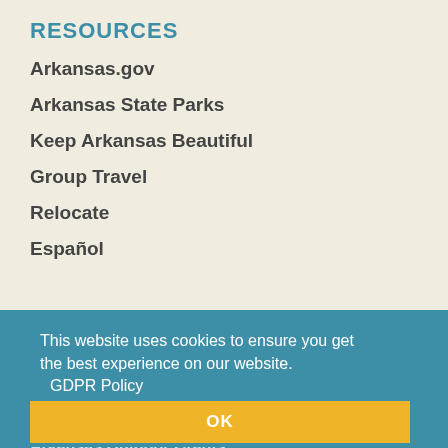RESOURCES
Arkansas.gov
Arkansas State Parks
Keep Arkansas Beautiful
Group Travel
Relocate
Español
FOI
Media
Industry
Arkansas Heritage
Arkansas Outdoor Grants
Arkansas Trails Council
This website uses cookies to ensure you get the best experience on our website.
GDPR Policy
OK